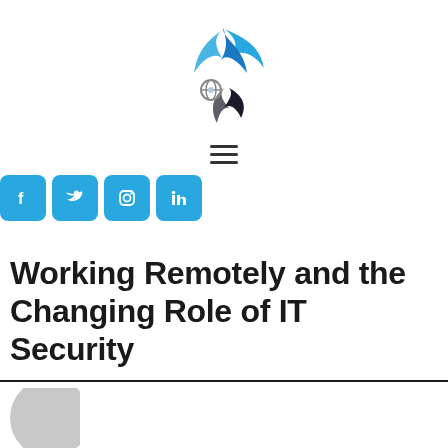[Figure (logo): Blue stylized logo with feather/wing shapes and a circular element]
[Figure (infographic): Hamburger menu icon with three horizontal lines]
[Figure (infographic): Row of four social media icon buttons (Facebook, Twitter, Instagram, LinkedIn) in cyan/blue square buttons]
Working Remotely and the Changing Role of IT Security
[Figure (illustration): Partial view of a gray avatar/person circle icon at the bottom left]